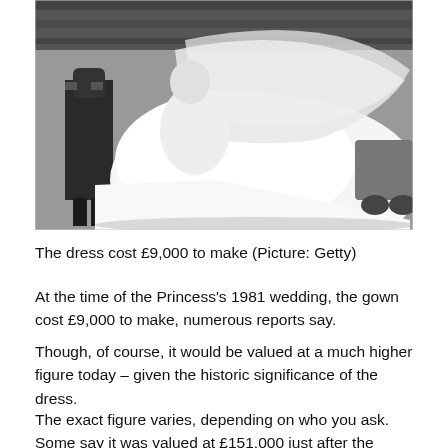[Figure (photo): Black and white photograph of Princess Diana in her wedding gown with a long flowing train and veil, standing next to a man in military uniform, appearing to be at her 1981 wedding.]
The dress cost £9,000 to make (Picture: Getty)
At the time of the Princess's 1981 wedding, the gown cost £9,000 to make, numerous reports say.
Though, of course, it would be valued at a much higher figure today – given the historic significance of the dress.
The exact figure varies, depending on who you ask. Some say it was valued at £151,000 just after the